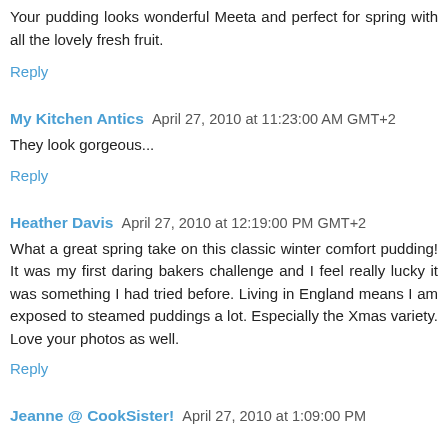Your pudding looks wonderful Meeta and perfect for spring with all the lovely fresh fruit.
Reply
My Kitchen Antics  April 27, 2010 at 11:23:00 AM GMT+2
They look gorgeous...
Reply
Heather Davis  April 27, 2010 at 12:19:00 PM GMT+2
What a great spring take on this classic winter comfort pudding! It was my first daring bakers challenge and I feel really lucky it was something I had tried before. Living in England means I am exposed to steamed puddings a lot. Especially the Xmas variety. Love your photos as well.
Reply
Jeanne @ CookSister!  April 27, 2010 at 1:09:00 PM